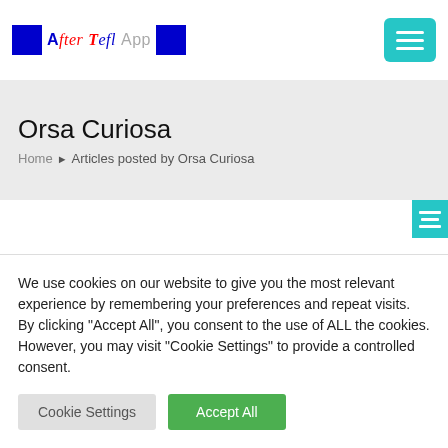After Tefl App — logo and navigation header
Orsa Curiosa
Home ▶ Articles posted by Orsa Curiosa
We use cookies on our website to give you the most relevant experience by remembering your preferences and repeat visits. By clicking "Accept All", you consent to the use of ALL the cookies. However, you may visit "Cookie Settings" to provide a controlled consent.
Cookie Settings    Accept All